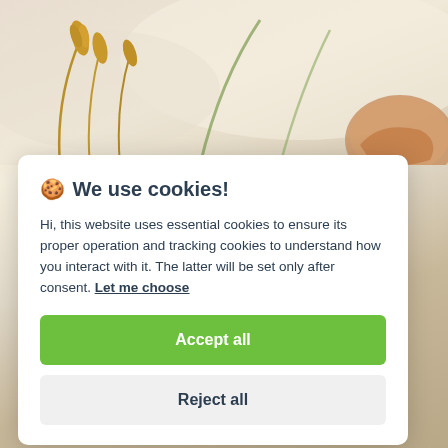[Figure (photo): Background photo of wheat stalks with grain, muted warm tones of beige, gold and cream]
🍪 We use cookies!
Hi, this website uses essential cookies to ensure its proper operation and tracking cookies to understand how you interact with it. The latter will be set only after consent. Let me choose
Accept all
Reject all
Kazakh Ministry Proposes Removing Curbs On Wheat Flour Exports In September